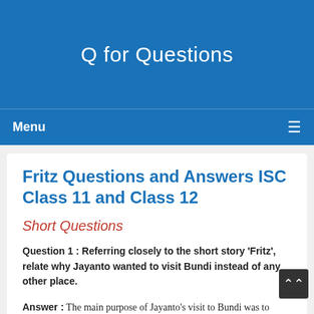Q for Questions
Menu
Fritz Questions and Answers ISC Class 11 and Class 12
Short Questions
Question 1 : Referring closely to the short story 'Fritz', relate why Jayanto wanted to visit Bundi instead of any other place.
Answer : The main purpose of Jayanto's visit to Bundi was to refresh his memories of his childhood. Perhaps he was haunted by the doll Fritz which he